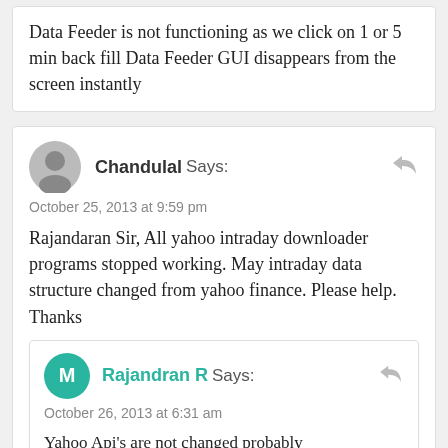Data Feeder is not functioning as we click on 1 or 5 min back fill Data Feeder GUI disappears from the screen instantly
Chandulal Says:
October 25, 2013 at 9:59 pm

Rajandaran Sir, All yahoo intraday downloader programs stopped working. May intraday data structure changed from yahoo finance. Please help.
Thanks
Rajandran R Says:
October 26, 2013 at 6:31 am

Yahoo Api's are not changed probably